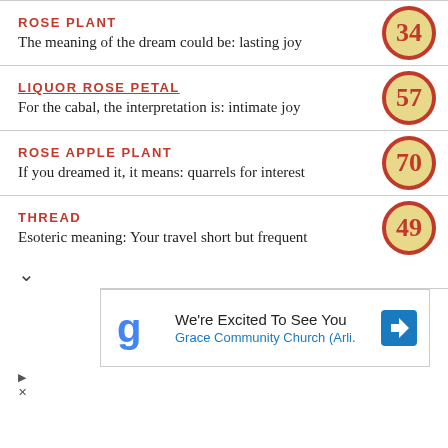ROSE PLANT
The meaning of the dream could be: lasting joy
LIQUOR ROSE PETAL
For the cabal, the interpretation is: intimate joy
ROSE APPLE PLANT
If you dreamed it, it means: quarrels for interest
THREAD
Esoteric meaning: Your travel short but frequent
[Figure (infographic): Advertisement banner for Grace Community Church with Google logo, text 'We're Excited To See You', 'Grace Community Church (Arli.' and a blue directions arrow icon]